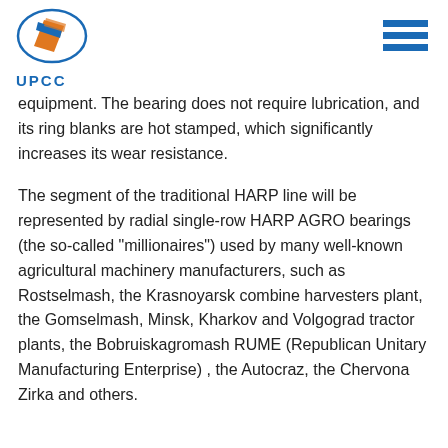UPCC logo and navigation menu
equipment. The bearing does not require lubrication, and its ring blanks are hot stamped, which significantly increases its wear resistance.
The segment of the traditional HARP line will be represented by radial single-row HARP AGRO bearings (the so-called "millionaires") used by many well-known agricultural machinery manufacturers, such as Rostselmash, the Krasnoyarsk combine harvesters plant, the Gomselmash, Minsk, Kharkov and Volgograd tractor plants, the Bobruiskagromash RUME (Republican Unitary Manufacturing Enterprise) , the Autocraz, the Chervona Zirka and others.